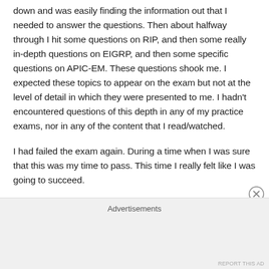down and was easily finding the information out that I needed to answer the questions. Then about halfway through I hit some questions on RIP, and then some really in-depth questions on EIGRP, and then some specific questions on APIC-EM. These questions shook me. I expected these topics to appear on the exam but not at the level of detail in which they were presented to me. I hadn't encountered questions of this depth in any of my practice exams, nor in any of the content that I read/watched.
I had failed the exam again. During a time when I was sure that this was my time to pass. This time I really felt like I was going to succeed.
Advertisements